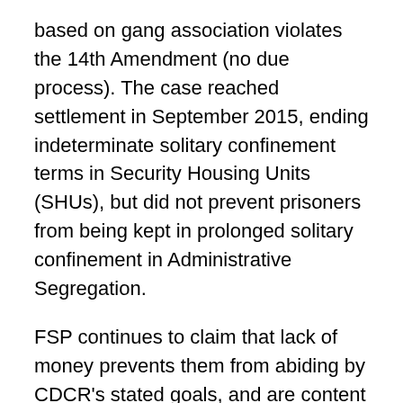based on gang association violates the 14th Amendment (no due process). The case reached settlement in September 2015, ending indeterminate solitary confinement terms in Security Housing Units (SHUs), but did not prevent prisoners from being kept in prolonged solitary confinement in Administrative Segregation.
FSP continues to claim that lack of money prevents them from abiding by CDCR's stated goals, and are content to not only ignore the suffering of men in its care, but to retaliate against them for their peaceful protest.
“On the afternoon of May 27th, someone called on my husband’s behalf relaying his message that Warden Ron Rackley and Ombudsman Sara Smith had a meeting with him where they communicated that they were upset with the hunger strike and threatened to take away his visits.